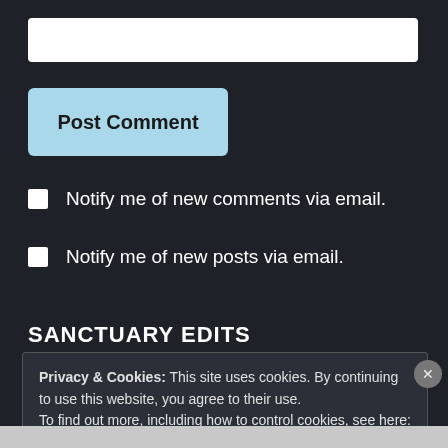[Figure (screenshot): White input text box at the top of the page]
Post Comment
Notify me of new comments via email.
Notify me of new posts via email.
SANCTUARY EDITS
Privacy & Cookies: This site uses cookies. By continuing to use this website, you agree to their use.
To find out more, including how to control cookies, see here:
Cookie Policy
Close and accept